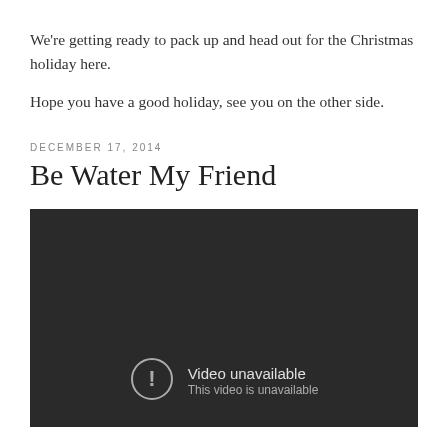We're getting ready to pack up and head out for the Christmas holiday here.
Hope you have a good holiday, see you on the other side.
DECEMBER 17, 2014
Be Water My Friend
[Figure (screenshot): Embedded video player showing a dark background with a 'Video unavailable - This video is unavailable' error message and a circle-exclamation icon.]